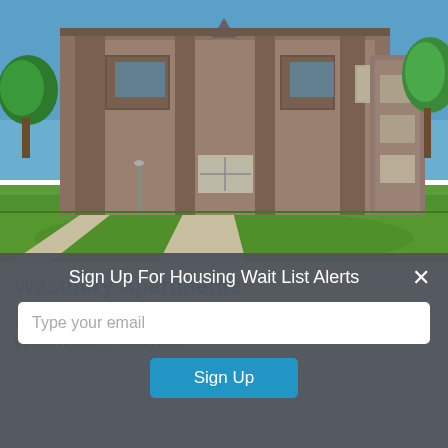[Figure (photo): Exterior photo of Westbury Apartments, a multi-story brown/tan brick building with balconies, blue sky, green lawn, sidewalk, and trees.]
Westbury Apartments
1585 W 115th Ave
Westminster, Colorado
Sign Up For Housing Wait List Alerts
Type your email
Sign Up